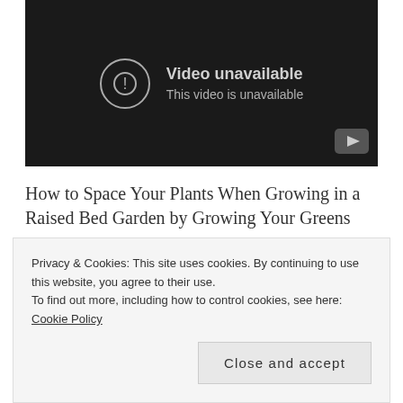[Figure (screenshot): YouTube-style video player showing 'Video unavailable - This video is unavailable' error message on a dark background with a YouTube logo button in the bottom right corner.]
How to Space Your Plants When Growing in a Raised Bed Garden by Growing Your Greens
Although based in sunnier climes than mine I follow
Privacy & Cookies: This site uses cookies. By continuing to use this website, you agree to their use.
To find out more, including how to control cookies, see here: Cookie Policy